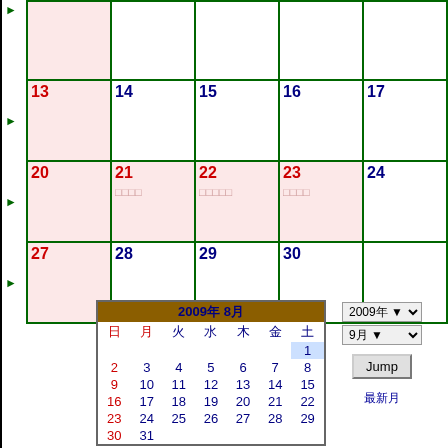[Figure (other): Monthly calendar grid showing dates 13-30, with pink highlighted Sunday column and week navigation arrows. Dates 20-23 show Japanese event text. Below is a mini calendar for August 2009 with navigation controls including year/month dropdowns and a Jump button.]
2009年 8月
Jump
最新月